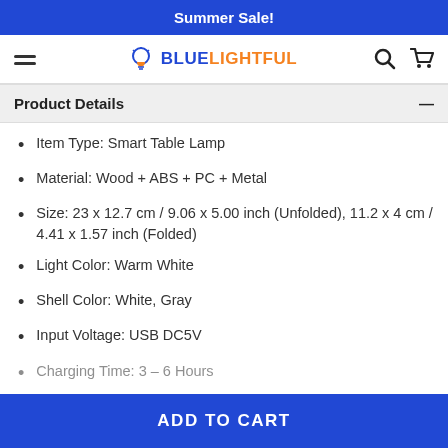Summer Sale!
[Figure (logo): BlueLightful logo with lightbulb icon, search icon, and cart icon navigation bar]
Product Details
Item Type: Smart Table Lamp
Material: Wood + ABS + PC + Metal
Size: 23 x 12.7 cm / 9.06 x 5.00 inch (Unfolded), 11.2 x 4 cm / 4.41 x 1.57 inch (Folded)
Light Color: Warm White
Shell Color: White, Gray
Input Voltage: USB DC5V
Charging Time: 3 – 6 Hours
ADD TO CART